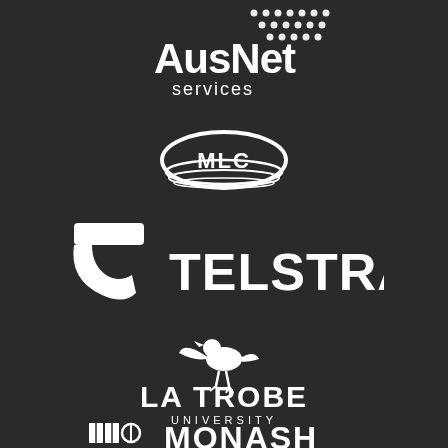[Figure (logo): AusNet Services logo in white on dark background]
[Figure (logo): MLC logo with oval/ring shape in white on dark background]
[Figure (logo): Telstra logo with T symbol and TELSTRA wordmark in white on dark background]
[Figure (logo): La Trobe University logo with bird icon and LA TROBE UNIVERSITY text in white on dark background]
[Figure (logo): Monash University logo with book/crest icon and MONASH text in white on dark background]